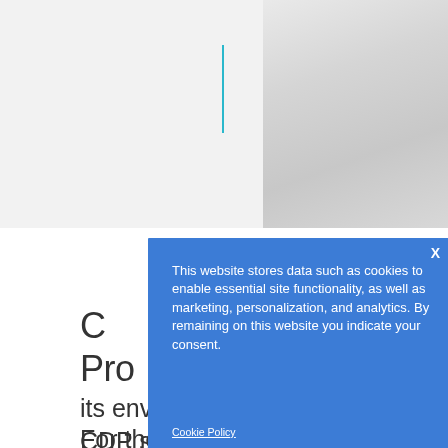[Figure (screenshot): Screenshot of a website with a cookie consent modal overlay. The background shows a webpage with partial text about Gildan's environmental reporting and CDP standards. A blue modal dialog covers the center of the page with cookie consent text and a Cookie Policy link.]
This website stores data such as cookies to enable essential site functionality, as well as marketing, personalization, and analytics. By remaining on this website you indicate your consent.
Cookie Policy
its environmental impacts to CDP standards.
For the first time, Gildan is also recognized as one of the companies demonstrating leading